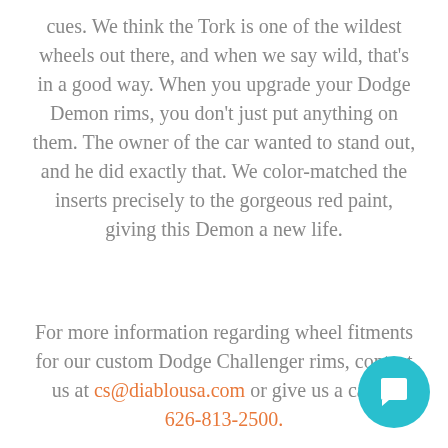cues. We think the Tork is one of the wildest wheels out there, and when we say wild, that's in a good way. When you upgrade your Dodge Demon rims, you don't just put anything on them. The owner of the car wanted to stand out, and he did exactly that. We color-matched the inserts precisely to the gorgeous red paint, giving this Demon a new life.
For more information regarding wheel fitments for our custom Dodge Challenger rims, contact us at cs@diablousa.com or give us a call at 626-813-2500.
[Figure (other): Teal circular chat/message button icon in bottom-right corner]